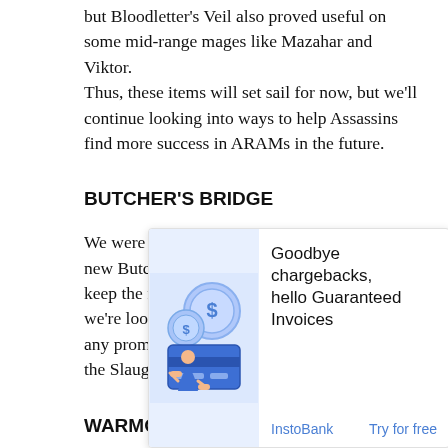but Bloodletter's Veil also proved useful on some mid-range mages like Mazahar and Viktor.
Thus, these items will set sail for now, but we'll continue looking into ways to help Assassins find more success in ARAMs in the future.
BUTCHER'S BRIDGE
We were overwhelmed by the reaction to the new Butcher's Bridge. We heard a lot of calls to keep the map permanently in some way, so we're looking into options. It's too early to make any promises about when or how we'll return to the Slaughter Docks, but we're looking into it.
WARMOG'S ARMOR REMOVAL
And last but not least, Warmog's Armor. There was a lot of discussion about this item in the wake of its removal for th[...] ce. Man[...] a very [...] Arm[...] In an e[...] win
[Figure (illustration): Advertisement overlay: InstoBank ad showing a person with coins and a card graphic. Text: 'Goodbye chargebacks, hello Guaranteed Invoices'. Brand: InstoBank. CTA: Try for free.]